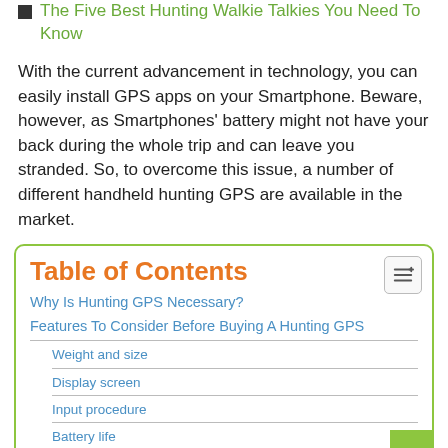The Five Best Hunting Walkie Talkies You Need To Know
With the current advancement in technology, you can easily install GPS apps on your Smartphone. Beware, however, as Smartphones' battery might not have your back during the whole trip and can leave you stranded. So, to overcome this issue, a number of different handheld hunting GPS are available in the market.
Table of Contents
Why Is Hunting GPS Necessary?
Features To Consider Before Buying A Hunting GPS
Weight and size
Display screen
Input procedure
Battery life
Reception